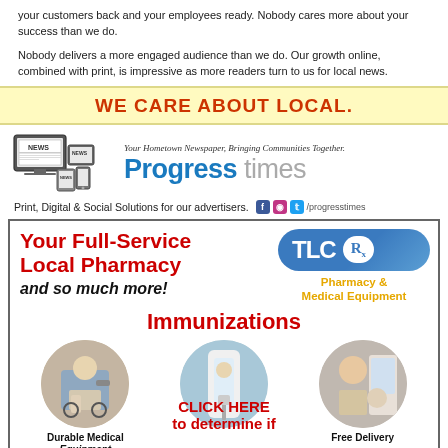your customers back and your employees ready. Nobody cares more about your success than we do.
Nobody delivers a more engaged audience than we do. Our growth online, combined with print, is impressive as more readers turn to us for local news.
WE CARE ABOUT LOCAL.
[Figure (logo): Progress times newspaper logo with news device icons and tagline 'Your Hometown Newspaper, Bringing Communities Together.']
Print, Digital & Social Solutions for our advertisers. f ig tw /progresstimes
[Figure (infographic): TLC Pharmacy ad: Your Full-Service Local Pharmacy and so much more! Immunizations. Durable Medical Equipment. Click Here to determine if. Free Delivery. TLC Rx Pharmacy & Medical Equipment logo.]